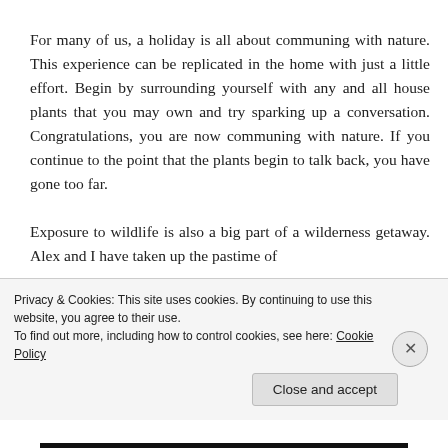For many of us, a holiday is all about communing with nature. This experience can be replicated in the home with just a little effort. Begin by surrounding yourself with any and all house plants that you may own and try sparking up a conversation. Congratulations, you are now communing with nature. If you continue to the point that the plants begin to talk back, you have gone too far.

Exposure to wildlife is also a big part of a wilderness getaway. Alex and I have taken up the pastime of
Privacy & Cookies: This site uses cookies. By continuing to use this website, you agree to their use.
To find out more, including how to control cookies, see here: Cookie Policy
Close and accept